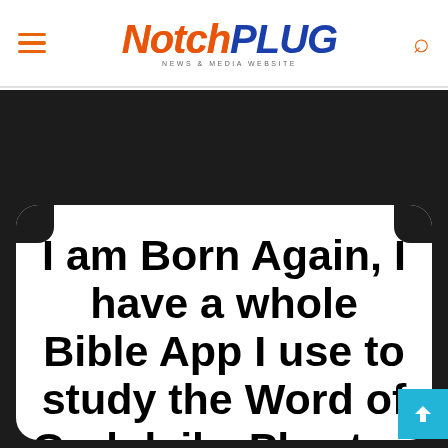NotchPLUG — News & Media Website
[Figure (screenshot): Dark background social media meme image with white rounded speech bubble containing bold black text reading: 'I am Born Again, I have a whole Bible App I use to study the Word of God daily. Pls stop this narrative of']
I am Born Again, I have a whole Bible App I use to study the Word of God daily. Pls stop this narrative of